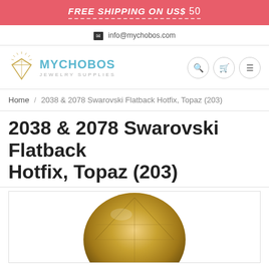FREE SHIPPING ON US$ 50
info@mychobos.com
[Figure (logo): Mychobos Jewelry Supplies logo with diamond icon and teal brand name]
Home / 2038 & 2078 Swarovski Flatback Hotfix, Topaz (203)
2038 & 2078 Swarovski Flatback Hotfix, Topaz (203)
[Figure (photo): Close-up image of a golden topaz Swarovski flatback hotfix crystal, showing faceted surface with golden brown color]